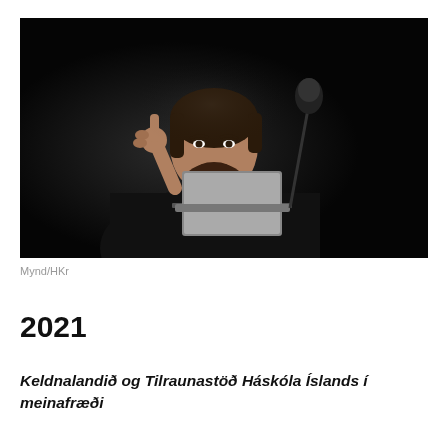[Figure (photo): A bearded man in a black turtleneck speaking at a podium with a laptop and microphone in front of a dark background, gesturing with his right hand.]
Mynd/HKr
2021
Keldnalandið og Tilraunastöð Háskóla Íslands í meinafræði